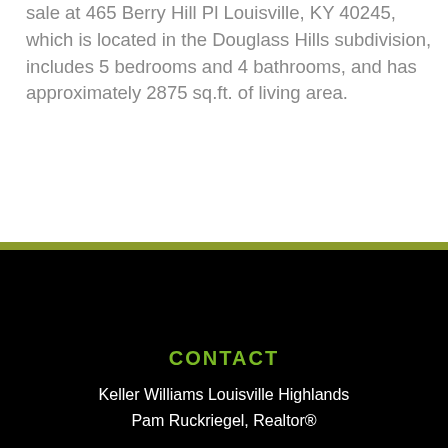sale at 465 Berry Hill Pl Louisville, KY 40245, which is located in the Douglass Hills subdivision, includes 5 bedrooms and 4 bathrooms, and has approximately 2875 sq.ft. of living area.
CONTACT
Keller Williams Louisville Highlands
Pam Ruckriegel, Realtor®